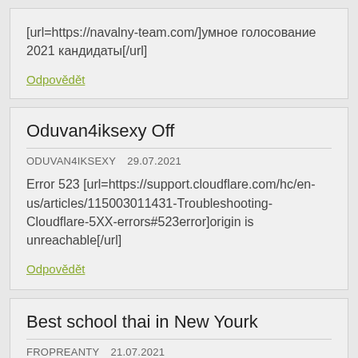[url=https://navalny-team.com/]умное голосование 2021 кандидаты[/url]
Odpovědět
Oduvan4iksexy Off
ODUVAN4IKSEXY    29.07.2021
Error 523 [url=https://support.cloudflare.com/hc/en-us/articles/115003011431-Troubleshooting-Cloudflare-5XX-errors#523error]origin is unreachable[/url]
Odpovědět
Best school thai in New Yourk
FROPREANTY    21.07.2021